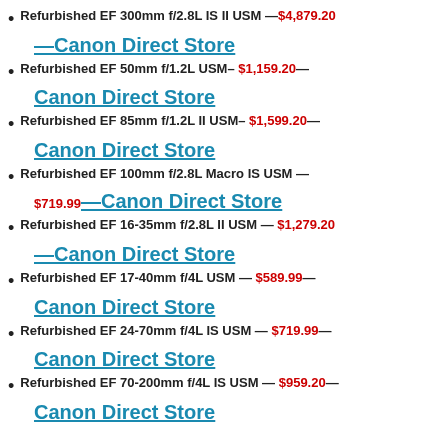Refurbished EF 300mm f/2.8L IS II USM — $4,879.20 —Canon Direct Store
Refurbished EF 50mm f/1.2L USM– $1,159.20— Canon Direct Store
Refurbished EF 85mm f/1.2L II USM– $1,599.20— Canon Direct Store
Refurbished EF 100mm f/2.8L Macro IS USM — $719.99—Canon Direct Store
Refurbished EF 16-35mm f/2.8L II USM — $1,279.20 —Canon Direct Store
Refurbished EF 17-40mm f/4L USM — $589.99— Canon Direct Store
Refurbished EF 24-70mm f/4L IS USM — $719.99— Canon Direct Store
Refurbished EF 70-200mm f/4L IS USM — $959.20— Canon Direct Store